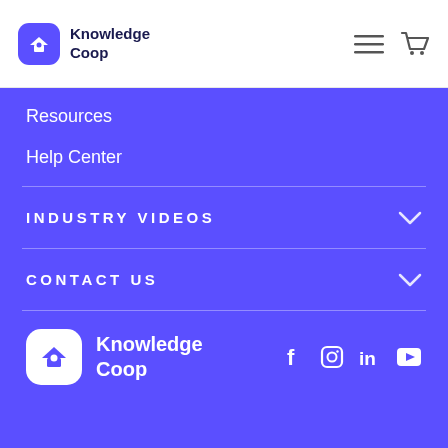[Figure (logo): Knowledge Coop logo with purple rounded square icon and dark text, plus hamburger menu and cart icons]
Resources
Help Center
INDUSTRY VIDEOS
CONTACT US
[Figure (logo): Knowledge Coop footer logo with white icon and white text, plus Facebook, Instagram, LinkedIn, YouTube social icons]